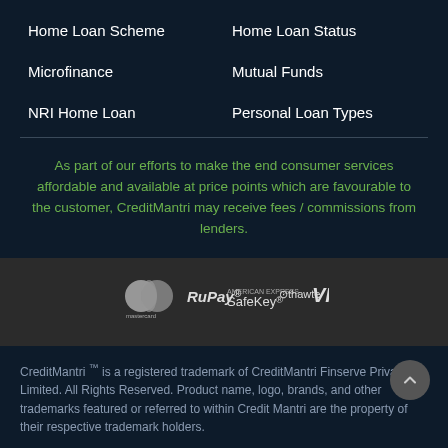Home Loan Scheme
Home Loan Status
Microfinance
Mutual Funds
NRI Home Loan
Personal Loan Types
As part of our efforts to make the end consumer services affordable and available at price points which are favourable to the customer, CreditMantri may receive fees / commissions from lenders.
[Figure (logo): Payment brand logos: Mastercard, RuPay, SafeKey, thawte, VISA]
CreditMantri ™ is a registered trademark of CreditMantri Finserve Private Limited. All Rights Reserved. Product name, logo, brands, and other trademarks featured or referred to within Credit Mantri are the property of their respective trademark holders.